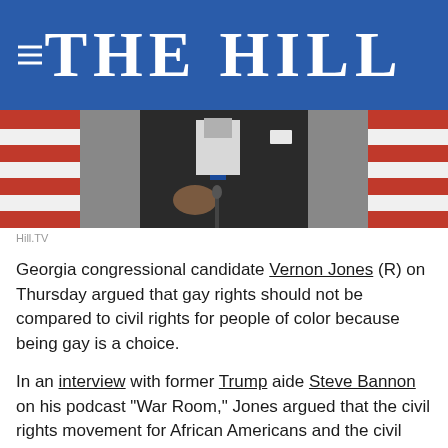THE HILL
[Figure (photo): Photo of a man in a dark suit gesturing at a podium with American flags in the background.]
Hill.TV
Georgia congressional candidate Vernon Jones (R) on Thursday argued that gay rights should not be compared to civil rights for people of color because being gay is a choice.
In an interview with former Trump aide Steve Bannon on his podcast “War Room,” Jones argued that the civil rights movement for African Americans and the civil rights movement for the LGBT community are “two different things.”
“Civil rights for Black people, civil rights for…